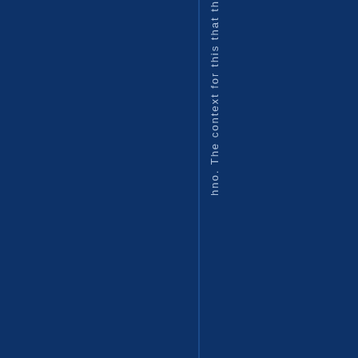[Figure (other): Dark navy blue background page with a vertical stripe and vertically-oriented text reading 'hno. The context for this that th' running along a narrow column near the center-right of the page. The text is light blue/white on a dark blue background, with letters stacked vertically.]